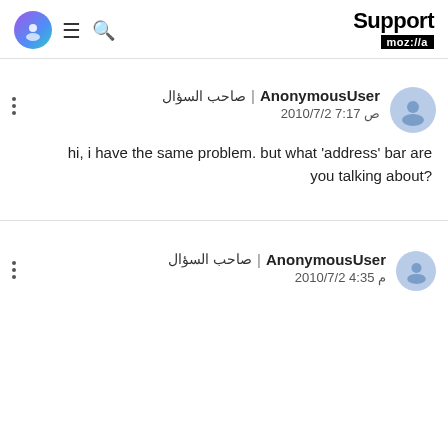Support moz://a
AnonymousUser | صاحب السؤال
2010/7/2 7:17 ص
hi, i have the same problem. but what 'address' bar are you talking about?
AnonymousUser | صاحب السؤال
2010/7/2 4:35 م